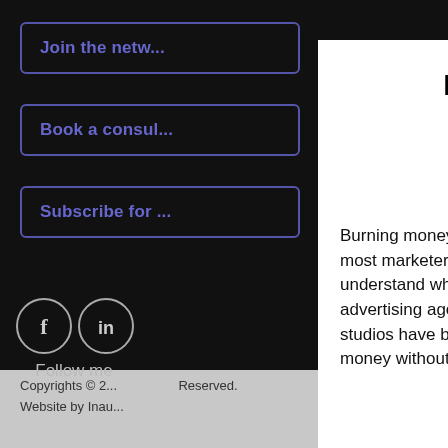Join the netw...
Book a consul...
Subscribe for ...
[Figure (illustration): Social media icons: Facebook and LinkedIn circles, with 'Follow me' text below]
Copyrights © 2... Reserved. Website by Inau...
FIVE TIPS FOR REDUCING THE COST OF BRANDING.
Burning money on branding is more common than most marketers think. Because few businesses truly understand what a brand is and how branding works, advertising agencies, branding agencies and design studios have become expert at spending their client's money without effective accountability.